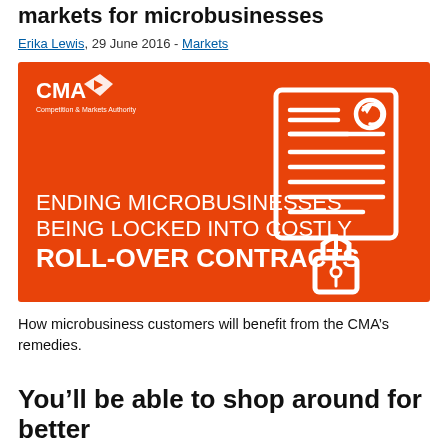Markets for Microbusinesses
Erika Lewis, 29 June 2016 - Markets
[Figure (illustration): Orange CMA (Competition & Markets Authority) branded graphic with white text reading 'ENDING MICROBUSINESSES BEING LOCKED INTO COSTLY ROLL-OVER CONTRACTS', accompanied by an icon of a document with a padlock, set on an orange background.]
How microbusiness customers will benefit from the CMA’s remedies.
You’ll be able to shop around for better